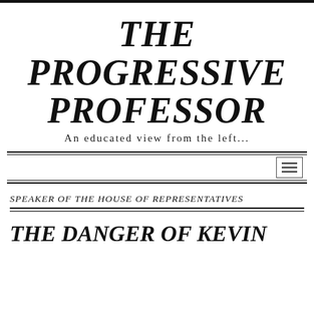THE PROGRESSIVE PROFESSOR
An educated view from the left...
[Figure (other): Navigation bar with hamburger menu icon on the right side, bordered by double lines top and bottom]
SPEAKER OF THE HOUSE OF REPRESENTATIVES
THE DANGER OF KEVIN